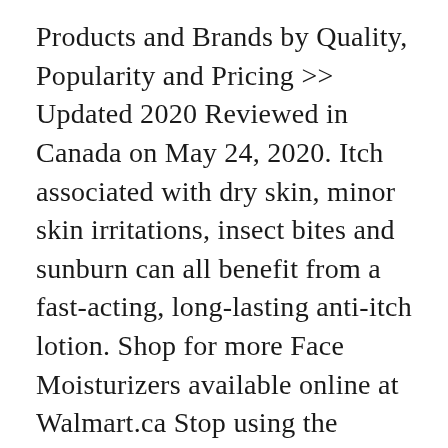Products and Brands by Quality, Popularity and Pricing >> Updated 2020 Reviewed in Canada on May 24, 2020. Itch associated with dry skin, minor skin irritations, insect bites and sunburn can all benefit from a fast-acting, long-lasting anti-itch lotion. Shop for more Face Moisturizers available online at Walmart.ca Stop using the topical emollient and call your doctor if you have severe burning, stinging, redness, or irritation where the product was applied. Buy CeraVe® Moisturizing Lotion from Walmart Canada. Developed with dermatologists and suitable for dry and very dry skin on the face and body, this rich, non-greasy, fast-absorbing moisturizing cream